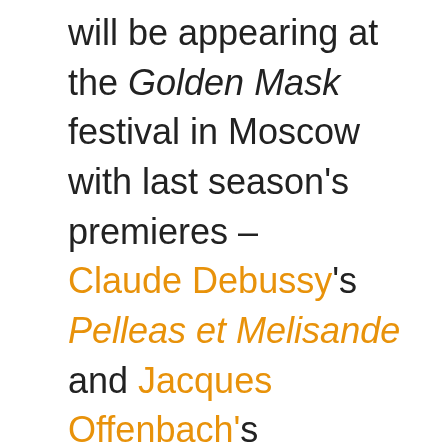will be appearing at the Golden Mask festival in Moscow with last season's premieres – Claude Debussy's Pelleas et Melisande and Jacques Offenbach's Contes d'Hoffmann. In Kazan the be performing a Wagner gala as well as a performance of one of this season's premieres – Jules Massenet's Don...